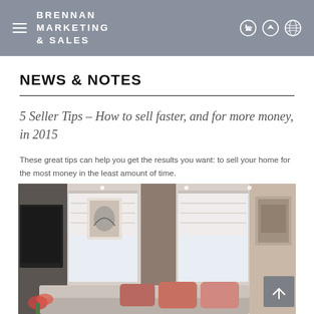BRENNAN MARKETING & SALES
NEWS & NOTES
5 Seller Tips – How to sell faster, and for more money, in 2015
These great tips can help you get the results you want: to sell your home for the most money in the least amount of time.
[Figure (photo): Interior room photo showing a modern living room with white roman shades on windows, framed artwork on walls, a flat-screen TV, and a sofa with pink/coral cushions.]